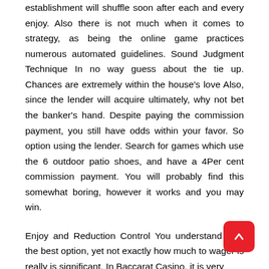Forget about card counting, as being the gambling establishment will shuffle soon after each and every enjoy. Also there is not much when it comes to strategy, as being the online game practices numerous automated guidelines. Sound Judgment Technique In no way guess about the tie up. Chances are extremely within the house's love Also, since the lender will acquire ultimately, why not bet the banker's hand. Despite paying the commission payment, you still have odds within your favor. So option using the lender. Search for games which use the 6 outdoor patio shoes, and have a 4Per cent commission payment. You will probably find this somewhat boring, however it works and you may win.
Enjoy and Reduction Control You understand now the best option, yet not exactly how much to wager is really is significant. In Baccarat Casino, it is very